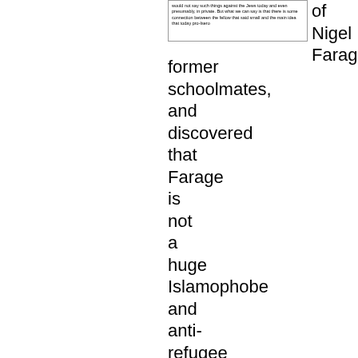[Figure (screenshot): Screenshot of text: 'would not say such things against the Jews today and even presumably, in private. But what we can say is that there is some connection between the fellow that said small and the main idea that today pro-Isero']
of Nigel Farage's
former schoolmates, and discovered that Farage is not a huge Islamophobe and anti-refugee in his role as leader of UKIP, but during his